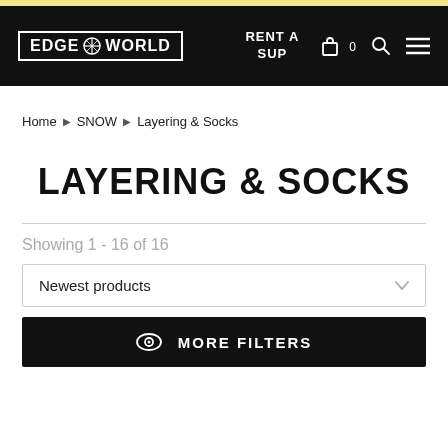EDGE WORLD | RENT A SUP
Home ▶ SNOW ▶ Layering & Socks
LAYERING & SOCKS
Showing 1 - 16 of 16
Newest products
MORE FILTERS